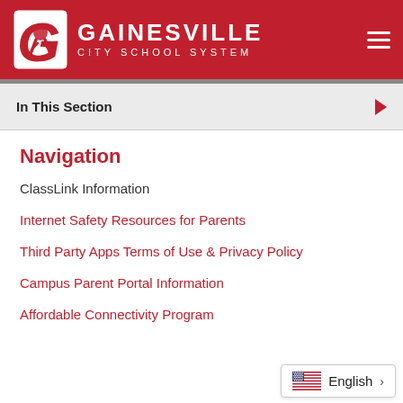[Figure (logo): Gainesville City School System logo with red 'G' mascot and white text on red header background]
In This Section
Navigation
ClassLink Information
Internet Safety Resources for Parents
Third Party Apps Terms of Use & Privacy Policy
Campus Parent Portal Information
Affordable Connectivity Program
English